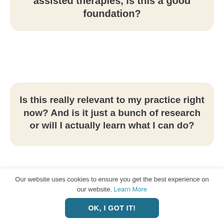assisted therapies, is this a good foundation?
Is this really relevant to my practice right now? And is it just a bunch of research or will I actually learn what I can do?
Is there a way to keep the
Our website uses cookies to ensure you get the best experience on our website. Learn More
OK, I GOT IT!